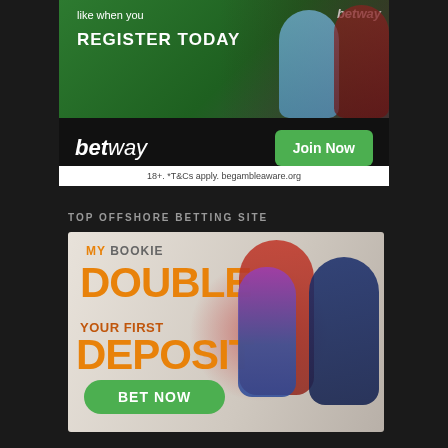[Figure (photo): Betway sports betting advertisement banner showing football players and 'REGISTER TODAY' call to action on green background]
[Figure (photo): Betway logo banner with 'Join Now' green button on dark background, with disclaimer '18+. *T&Cs apply. begambleaware.org']
TOP OFFSHORE BETTING SITE
[Figure (photo): MyBookie advertisement showing 'DOUBLE YOUR FIRST DEPOSIT' in orange text with football players and green 'BET NOW' button]